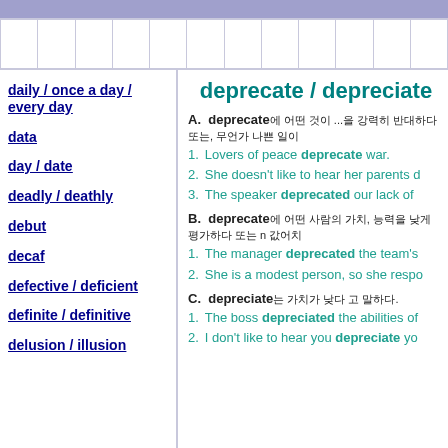daily / once a day / every day
data
day / date
deadly / deathly
debut
decaf
defective / deficient
definite / definitive
delusion / illusion
deprecate / depreciate
A. deprecate: ...
1. Lovers of peace deprecate war.
2. She doesn't like to hear her parents d...
3. The speaker deprecated our lack of...
B. deprecate: ...
1. The manager deprecated the team's...
2. She is a modest person, so she respo...
C. depreciate: ...
1. The boss depreciated the abilities of...
2. I don't like to hear you depreciate y...